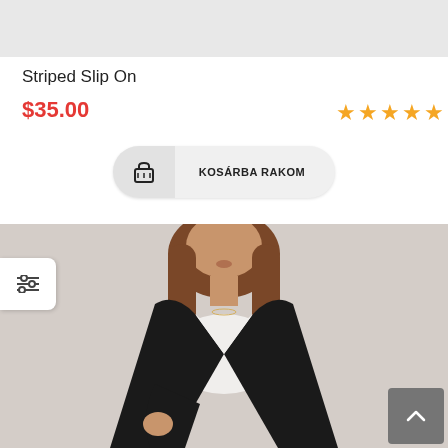[Figure (photo): Top portion of product image strip (gray background)]
Striped Slip On
$35.00
★★★★★ (5 stars rating)
KOSÁRBA RAKOM (Add to cart button with basket icon)
[Figure (photo): Product photo: woman wearing black blazer over white top, brown hair, shown from shoulders up and mid-torso]